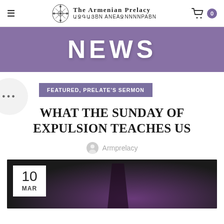The Armenian Prelacy / ԱՋԳԱՅBL ԱNԱՋNNNNPABN
NEWS
FEATURED, PRELATE'S SERMON
WHAT THE SUNDAY OF EXPULSION TEACHES US
Armprelacy
[Figure (photo): Dark photo with purple tones, date box showing 10 MAR in the top-left corner]
10 MAR